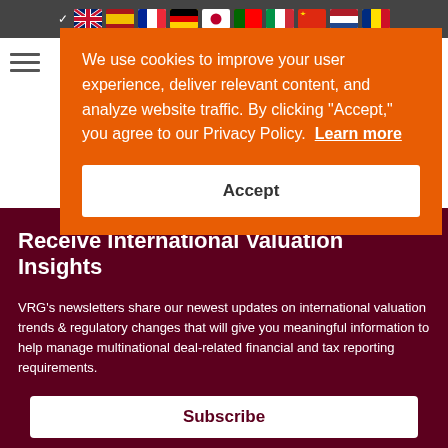[Figure (screenshot): Top navigation flag bar showing language selection icons (UK, Spain, France, Germany, Japan, Portugal, Italy, China, Netherlands, Romania flags) with a checkmark on the UK flag]
[Figure (screenshot): Hamburger menu icon (three horizontal lines) on the left side of the page]
Receive International Valuation Insights
VRG's newsletters share our newest updates on international valuation trends & regulatory changes that will give you meaningful information to help manage multinational deal-related financial and tax reporting requirements.
We use cookies to improve your user experience, deliver relevant content, and analyze website traffic. By clicking "Accept," you agree to our Privacy Policy. Learn more
Accept
Subscribe